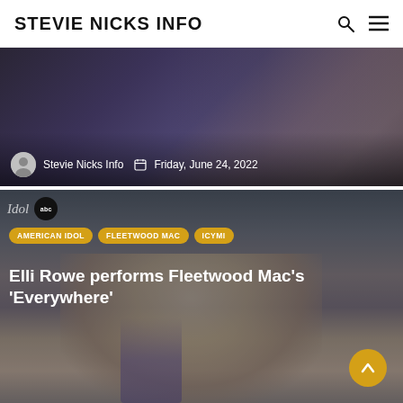STEVIE NICKS INFO
[Figure (photo): A person in dark clothing photographed from torso down, with ornate furniture visible in background. Overlay text shows author 'Stevie Nicks Info' and date 'Friday, June 24, 2022'.]
[Figure (photo): Blonde woman singing into microphone on American Idol (ABC). Tags: AMERICAN IDOL, FLEETWOOD MAC, ICYMI. Article title: Elli Rowe performs Fleetwood Mac's 'Everywhere']